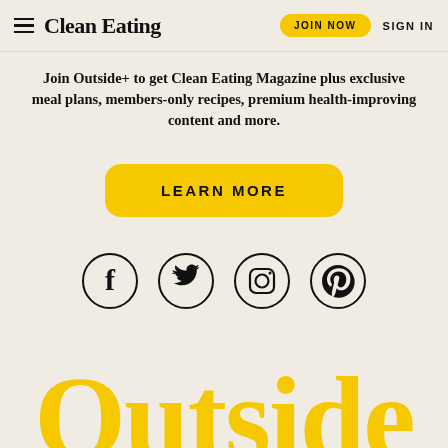Clean Eating | JOIN NOW | SIGN IN
Join Outside+ to get Clean Eating Magazine plus exclusive meal plans, members-only recipes, premium health-improving content and more.
LEARN MORE
[Figure (other): Social media icons: Facebook, Twitter, Instagram, Pinterest — each inside a circle outline]
Outside